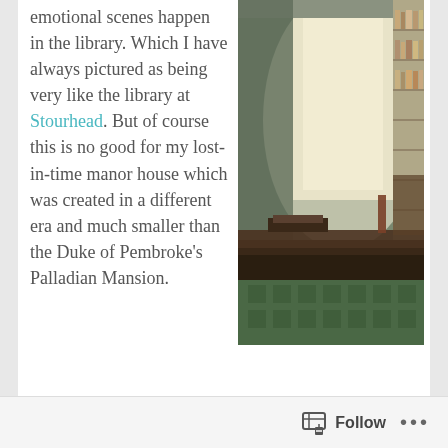emotional scenes happen in the library. Which I have always pictured as being very like the library at Stourhead. But of course this is no good for my lost-in-time manor house which was created in a different era and much smaller than the Duke of Pembroke's Palladian Mansion.
[Figure (photo): Interior photograph of a historic library room with tall bookshelves filled with books, a large window letting in bright daylight, a dark wooden desk in the foreground, and a patterned green carpet.]
There is a smaller room at Swarthmoor, but
Follow ···